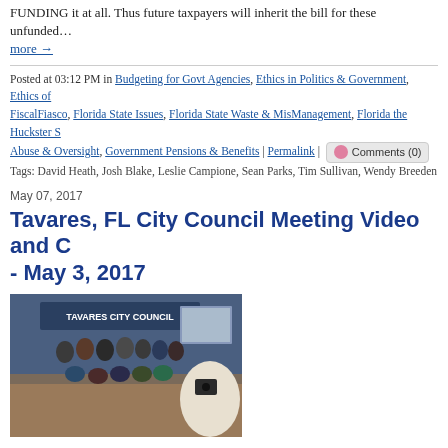FUNDING it at all. Thus future taxpayers will inherit the bill for these unfunded… more →
Posted at 03:12 PM in Budgeting for Govt Agencies, Ethics in Politics & Government, Ethics of FiscalFiasco, Florida State Issues, Florida State Waste & MisManagement, Florida the Huckster S Abuse & Oversight, Government Pensions & Benefits | Permalink | Comments (0)
Tags: David Heath, Josh Blake, Leslie Campione, Sean Parks, Tim Sullivan, Wendy Breeden
May 07, 2017
Tavares, FL City Council Meeting Video and C - May 3, 2017
[Figure (photo): Group photo of people standing and kneeling inside the Tavares City Council chamber, with a banner reading TAVARES CITY COUNCIL visible in the background. Someone in the foreground is photographing the group.]
The May 3, 2017 Tavares, FL City Council meeting had several interesting segme GOOD VIDEO to watch to understand Tavares City Council activities. Click "SH read more details below. You can also get the agenda and attachments at this link: http://www.tavares.org/archive.aspx The agenda topics included these topics: Tab owner of Jones Brothers Seaplanes about how business has expanded in the Seapla presentation about how the franchise chain "Firehouse Subs" funded $30,000 of sa for the Tavares, FL Fire Dept. Specifically, they provided three high tech pieces of